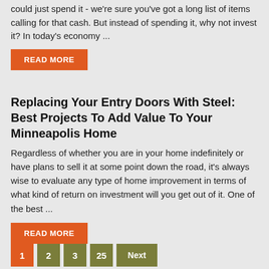could just spend it - we're sure you've got a long list of items calling for that cash.  But instead of spending it, why not invest it?  In today's economy ...
READ MORE
Replacing Your Entry Doors With Steel: Best Projects To Add Value To Your Minneapolis Home
Regardless of whether you are in your home indefinitely or have plans to sell it at some point down the road, it's always wise to evaluate any type of home improvement in terms of what kind of return on investment will you get out of it. One of the best ...
READ MORE
1  2  3  25  Next